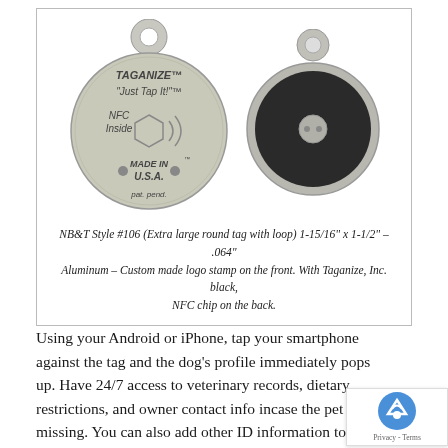[Figure (photo): Two views of a Taganize NFC pet tag: front view showing an aluminum round tag with loop, engraved with TAGANIZE, 'Just Tap It!', NFC Inside, Made in U.S.A., pat. pend., plus NFC symbol; and back view showing the black rubber-coated reverse with a small metal NFC chip in the center.]
NB&T Style #106 (Extra large round tag with loop) 1-15/16" x 1-1/2" – .064" Aluminum – Custom made logo stamp on the front. With Taganize, Inc. black, NFC chip on the back.
Using your Android or iPhone, tap your smartphone against the tag and the dog's profile immediately pops up. Have 24/7 access to veterinary records, dietary restrictions, and owner contact info incase the pet goes missing. You can also add other ID information to the profile, such as license tag, rabies tag, and microchip number. With Taganize, the possibilities are